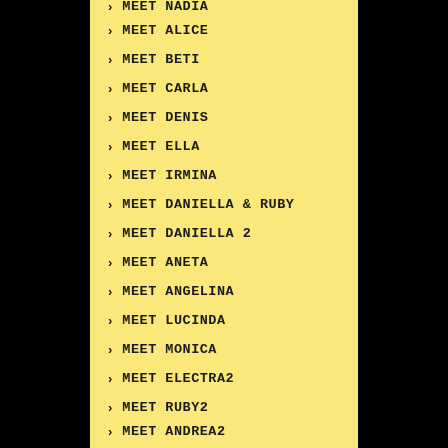MEET NADIA
MEET ALICE
MEET BETI
MEET CARLA
MEET DENIS
MEET ELLA
MEET IRMINA
MEET DANIELLA & RUBY
MEET DANIELLA 2
MEET ANETA
MEET ANGELINA
MEET LUCINDA
MEET MONICA
MEET ELECTRA2
MEET RUBY2
MEET ANDREA2